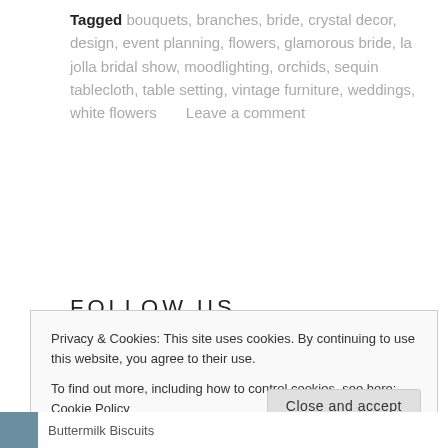Tagged bouquets, branches, bride, crystal decor, design, event planning, flowers, glamorous bride, la jolla bridal show, moodlighting, orchids, sequin tablecloth, table setting, vintage furniture, weddings, white flowers      Leave a comment
FOLLOW US
Privacy & Cookies: This site uses cookies. By continuing to use this website, you agree to their use.
To find out more, including how to control cookies, see here: Cookie Policy
Close and accept
Buttermilk Biscuits